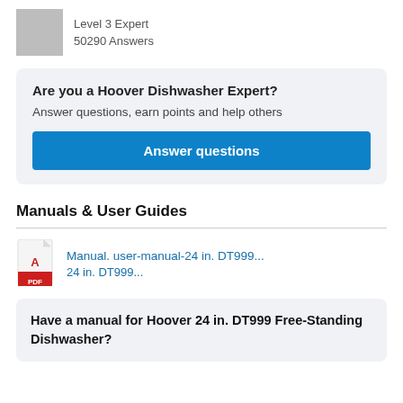Level 3 Expert
50290 Answers
Are you a Hoover Dishwasher Expert?
Answer questions, earn points and help others
Answer questions
Manuals & User Guides
Manual. user-manual-24 in. DT999...
24 in. DT999...
Have a manual for Hoover 24 in. DT999 Free-Standing Dishwasher?